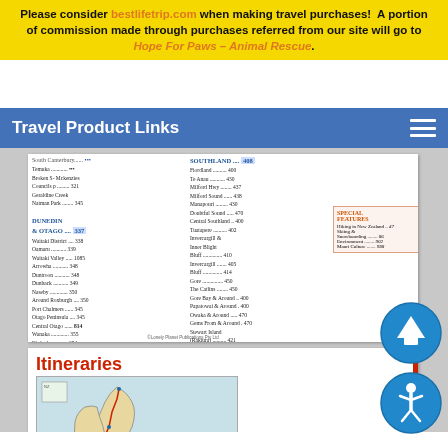Please consider bestlifetrip.com when making travel purchases! A portion of commission made through purchases referred from our site will go to Hope For Paws - Animal Rescue.
Travel Product Links
[Figure (screenshot): Screenshot of a travel guide book page showing table of contents for South Canterbury, Dunedin & Otago, and Southland regions, followed by an Itineraries section with a map of New Zealand showing North & South route, and body text describing the itinerary.]
[Figure (illustration): Blue circular button with white upward arrow for scroll-to-top functionality]
[Figure (illustration): Blue circular accessibility button with white person icon]